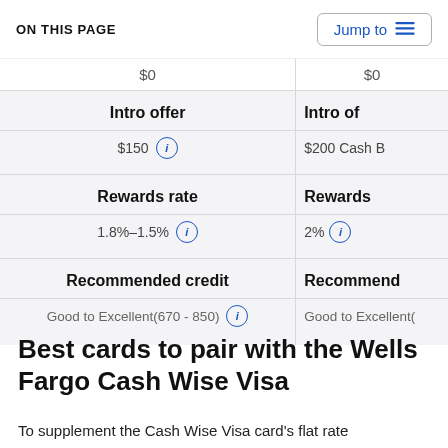ON THIS PAGE
|  |  |
| --- | --- |
| $0 | $0 |
| Intro offer | Intro offer |
| $150 (i) | $200 Cash B... |
| Rewards rate | Rewards rate |
| 1.8%–1.5% (i) | 2% (i) |
| Recommended credit | Recommended credit |
| Good to Excellent(670 - 850) (i) | Good to Excellent(...) |
Best cards to pair with the Wells Fargo Cash Wise Visa
To supplement the Cash Wise Visa card's flat rate